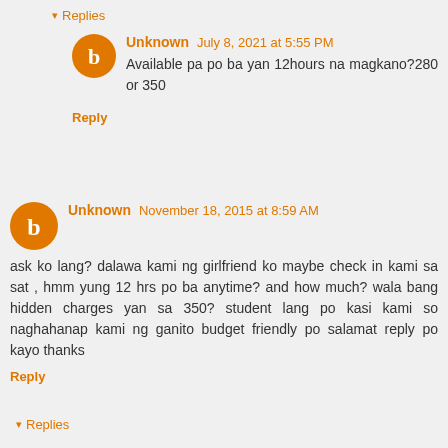▾ Replies
Unknown July 8, 2021 at 5:55 PM
Available pa po ba yan 12hours na magkano?280 or 350
Reply
Unknown November 18, 2015 at 8:59 AM
ask ko lang? dalawa kami ng girlfriend ko maybe check in kami sa sat , hmm yung 12 hrs po ba anytime? and how much? wala bang hidden charges yan sa 350? student lang po kasi kami so naghahanap kami ng ganito budget friendly po salamat reply po kayo thanks
Reply
▾ Replies